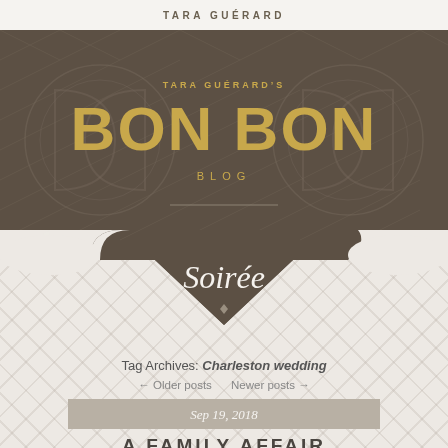TARA GUÉRARD
[Figure (logo): Tara Guérard's Bon Bon Blog Soirée logo — dark brown shield/hexagonal emblem with decorative pattern background, gold text reading TARA GUÉRARD'S BON BON BLOG, cursive script Soirée below with a small diamond dot]
Tag Archives: Charleston wedding
← Older posts   Newer posts →
Sep 19, 2018
A FAMILY AFFAIR